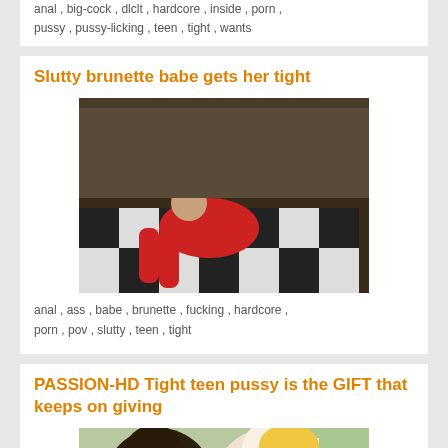anal , big-cock , dlclt , hardcore , inside , porn , pussy , pussy-licking , teen , tight , wants
Slutty brunette babe gets her tight
[Figure (photo): Thumbnail image of adult video content showing two people on a checkered floor]
anal , ass , babe , brunette , fucking , hardcore , porn , pov , slutty , teen , tight
PASSION-HD Tight teen pussy is the GIFT that keeps on giving
[Figure (photo): Thumbnail image of adult video content showing two people kissing]